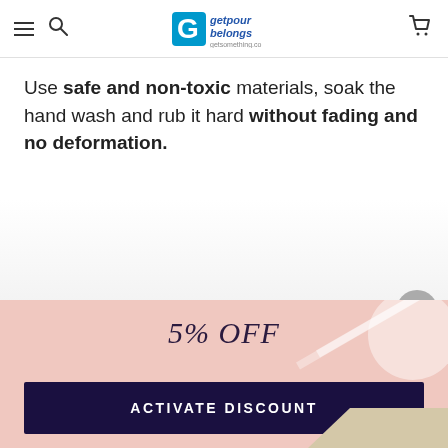Navigation bar with menu, search, logo (getpourbelongs), and cart icon
Use safe and non-toxic materials, soak the hand wash and rub it hard without fading and no deformation.
[Figure (screenshot): Floating action buttons: share, scroll-to-top, and close (X)]
[Figure (infographic): 5% OFF discount banner with pink background, decorative circle and diagonal stripe, and ACTIVATE DISCOUNT button]